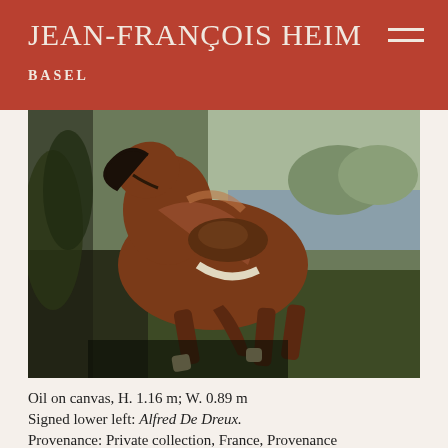JEAN-FRANÇOIS HEIM BASEL
[Figure (photo): Oil painting of a chestnut horse in motion with a saddle, set in a landscape with trees, grass, and a river or lake in the background. The horse appears to be prancing or cantering, viewed from a three-quarter angle.]
Oil on canvas, H. 1.16 m; W. 0.89 m
Signed lower left: Alfred De Dreux.
Provenance: Private collection, France, Provenance